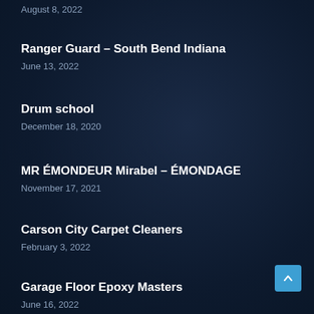August 8, 2022
Ranger Guard – South Bend Indiana
June 13, 2022
Drum school
December 18, 2020
MR ÉMONDEUR Mirabel – ÉMONDAGE
November 17, 2021
Carson City Carpet Cleaners
February 3, 2022
Garage Floor Epoxy Masters
June 16, 2022